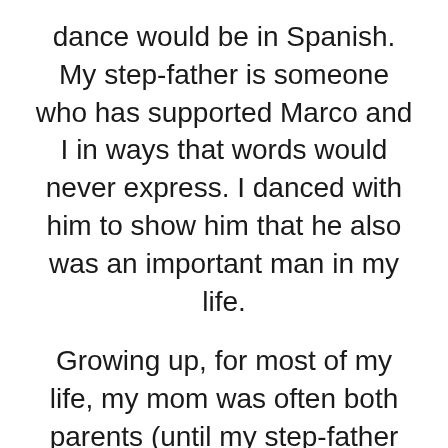dance would be in Spanish. My step-father is someone who has supported Marco and I in ways that words would never express. I danced with him to show him that he also was an important man in my life.
Growing up, for most of my life, my mom was often both parents (until my step-father joined our family). We would celebrate her both on Mother's Day as well as on Father's Day. We planned to surprise my mom, and we did just that! Mid way through the